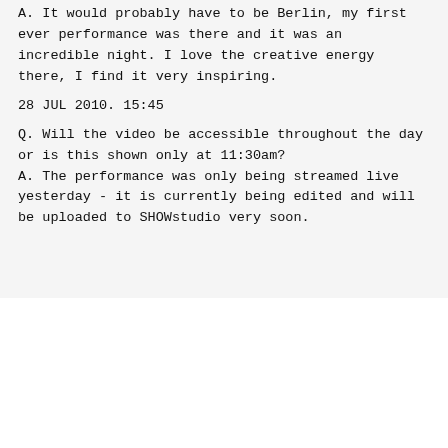A. It would probably have to be Berlin, my first ever performance was there and it was an incredible night. I love the creative energy there, I find it very inspiring.
28 JUL 2010. 15:45
Q. Will the video be accessible throughout the day or is this shown only at 11:30am?
A. The performance was only being streamed live yesterday - it is currently being edited and will be uploaded to SHOWstudio very soon.
Performance:
Millie Brown
Musical Performance:
Patricia Hammond and Zita Syme